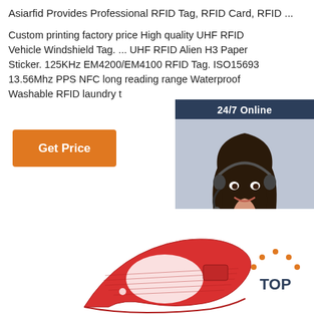Asiarfid Provides Professional RFID Tag, RFID Card, RFID ...
Custom printing factory price High quality UHF RFID Vehicle Windshield Tag. ... UHF RFID Alien H3 Paper Sticker. 125KHz EM4200/EM4100 RFID Tag. ISO15693 13.56Mhz PPS NFC long reading range Waterproof Washable RFID laundry t...
[Figure (other): Orange 'Get Price' button]
[Figure (photo): 24/7 Online chat widget with photo of woman wearing headset, 'Click here for free chat!' text and orange QUOTATION button]
[Figure (photo): Red RFID wristband/laundry tag on white background]
[Figure (other): Orange and dark blue TOP scroll-to-top button with dots icon]